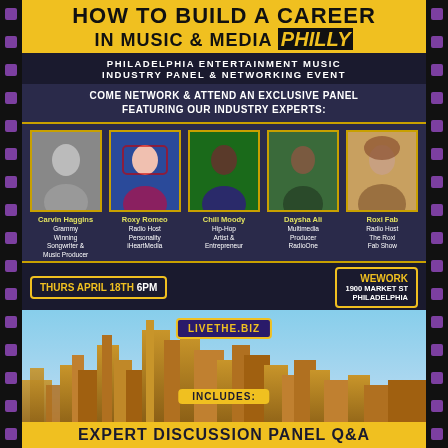HOW TO BUILD A CAREER IN MUSIC & MEDIA PHILLY
PHILADELPHIA ENTERTAINMENT MUSIC INDUSTRY PANEL & NETWORKING EVENT
COME NETWORK & ATTEND AN EXCLUSIVE PANEL FEATURING OUR INDUSTRY EXPERTS:
[Figure (photo): Five industry expert headshots: Carvin Haggins (Grammy Winning Songwriter & Music Producer), Roxy Romeo (Radio Host Personality iHeartMedia), Chill Moody (Hip-Hop Artist & Entrepreneur), Daysha Ali (Multimedia Producer RadioOne), Roxi Fab (Radio Host The Roxi Fab Show)]
THURS APRIL 18TH 6PM | WEWORK 1900 MARKET ST PHILADELPHIA
GET TICKETS NOW @ WWW.LIVETHE.BIZ/philly
[Figure (photo): Philadelphia city skyline with LIVETHE.BIZ logo and INCLUDES: text overlay, bottom section showing EXPERT DISCUSSION PANEL Q&A text]